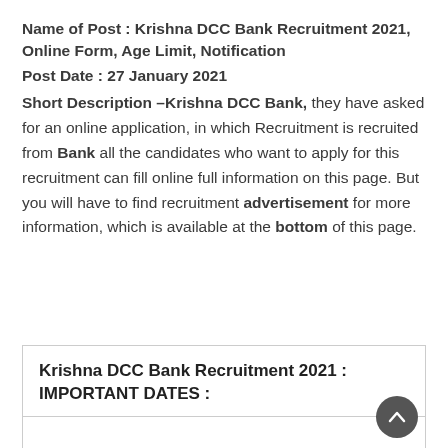Name of Post : Krishna DCC Bank Recruitment 2021, Online Form, Age Limit, Notification
Post Date : 27 January 2021
Short Description –Krishna DCC Bank, they have asked for an online application, in which Recruitment is recruited from Bank all the candidates who want to apply for this recruitment can fill online full information on this page. But you will have to find recruitment advertisement for more information, which is available at the bottom of this page.
Krishna DCC Bank Recruitment 2021 : IMPORTANT DATES :